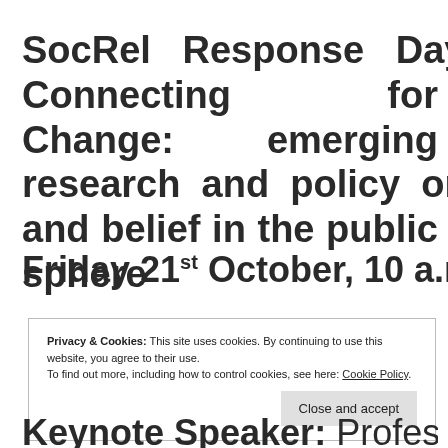SocRel Response Day 2016: Connecting for Change: emerging research and policy on religion and belief in the public sphere
Friday 21st October, 10 a.m. -4 p.m.
Privacy & Cookies: This site uses cookies. By continuing to use this website, you agree to their use. To find out more, including how to control cookies, see here: Cookie Policy
Keynote Speaker: Professor Tariq